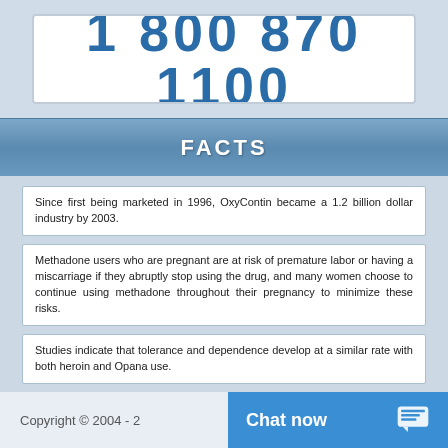[Figure (other): Phone number display box showing '1 800 870 1100' in large blue text on white background]
FACTS
Since first being marketed in 1996, OxyContin became a 1.2 billion dollar industry by 2003.
Methadone users who are pregnant are at risk of premature labor or having a miscarriage if they abruptly stop using the drug, and many women choose to continue using methadone throughout their pregnancy to minimize these risks.
Studies indicate that tolerance and dependence develop at a similar rate with both heroin and Opana use.
Vicodin withdrawal can occur when someone has been prescribed the drug or when someone is abusing the drug has developed a tolerance and dependence to it.
Copyright © 2004 - 2   Chat now